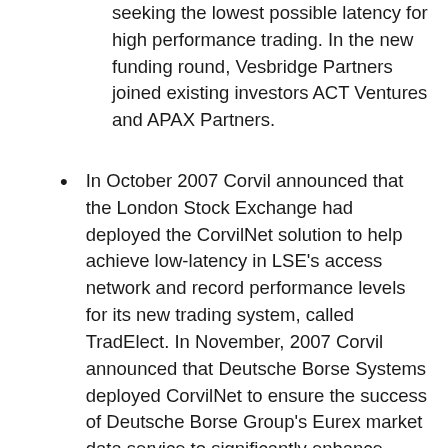seeking the lowest possible latency for high performance trading. In the new funding round, Vesbridge Partners joined existing investors ACT Ventures and APAX Partners.
In October 2007 Corvil announced that the London Stock Exchange had deployed the CorvilNet solution to help achieve low-latency in LSE's access network and record performance levels for its new trading system, called TradElect. In November, 2007 Corvil announced that Deutsche Borse Systems deployed CorvilNet to ensure the success of Deutsche Borse Group's Eurex market data service to significantly enhance support of algorithmic trading. In June, 2008 Corvil announced that Credit Suisse has selected CorvilNet for a global network deployment. Corvil teamed with BT to deliver a solution for latency management and optimization of the Credit Suisse network.